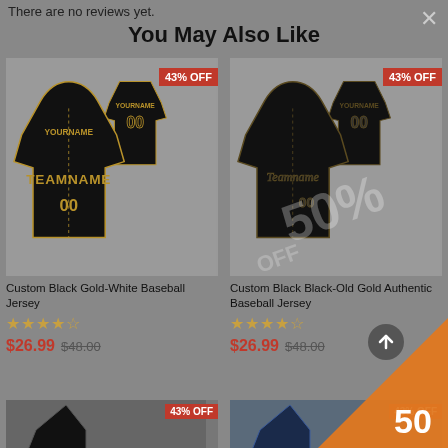There are no reviews yet.
You May Also Like
[Figure (photo): Custom Black Gold-White Baseball Jersey product image with 43% OFF badge]
Custom Black Gold-White Baseball Jersey
★★★★☆ $26.99 $48.00
[Figure (photo): Custom Black Black-Old Gold Authentic Baseball Jersey product image with 43% OFF badge and 50% watermark]
Custom Black Black-Old Gold Authentic Baseball Jersey
★★★★☆ $26.99 $48.00
[Figure (photo): Bottom row jersey products with 43% OFF badges]